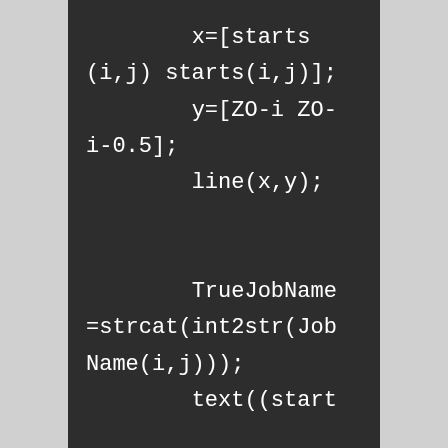x=[starts (i,j) starts(i,j)];
            y=[ZO-i ZO-i-0.5];
            line(x,y);


            TrueJobName =strcat(int2str(JobName(i,j)));
            text((start